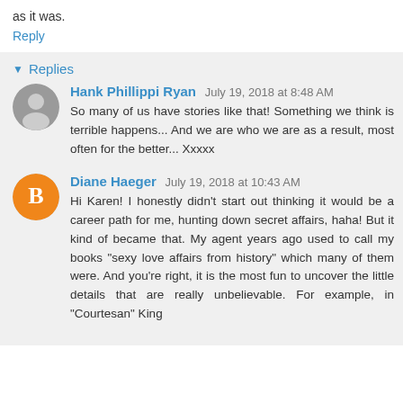as it was.
Reply
Replies
Hank Phillippi Ryan  July 19, 2018 at 8:48 AM
So many of us have stories like that! Something we think is terrible happens... And we are who we are as a result, most often for the better... Xxxxx
Diane Haeger  July 19, 2018 at 10:43 AM
Hi Karen! I honestly didn't start out thinking it would be a career path for me, hunting down secret affairs, haha! But it kind of became that. My agent years ago used to call my books "sexy love affairs from history" which many of them were. And you're right, it is the most fun to uncover the little details that are really unbelievable. For example, in "Courtesan" King